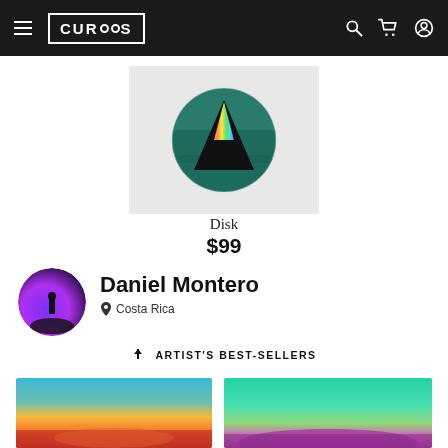CURIOOS
[Figure (photo): Product image: a circular disk artwork with a colorful prism/triangle on a teal ocean background, on a light grey square background]
Disk
$99
[Figure (photo): Artist avatar: silhouette of a person standing on a hill against a purple and blue gradient sky circle]
Daniel Montero
Costa Rica
ARTIST'S BEST-SELLERS
[Figure (photo): Thumbnail artwork: vibrant sunset landscape with blue to orange to red gradient sky and orange clouds near horizon]
[Figure (photo): Thumbnail artwork: colorful landscape with teal green sky and purple-pink mountains/terrain]